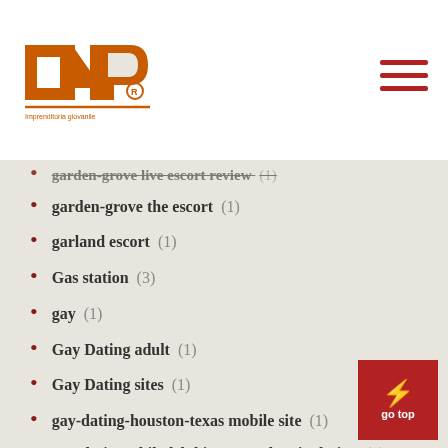[Figure (logo): INP logo with registered trademark symbol in orange/brown color]
garden-grove live escort review (1)
garden-grove the escort (1)
garland escort (1)
Gas station (3)
gay (1)
Gay Dating adult (1)
Gay Dating sites (1)
gay-dating-houston-texas mobile site (1)
gay-dating-philadelphia-pennsylvania dating (1)
gaydar Accedere (2)
gaydar funziona (1)